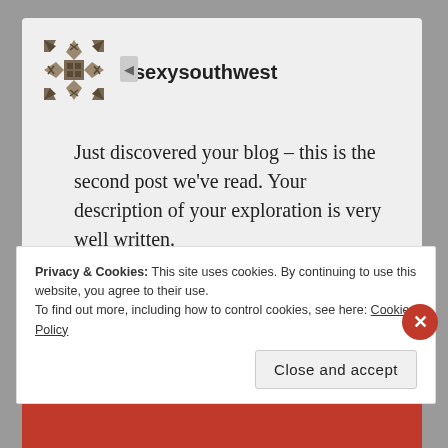[Figure (logo): Decorative geometric/floral logo with brown/tan cross and diamond pattern]
sexysouthwest
Just discovered your blog – this is the second post we've read. Your description of your exploration is very well written.
Privacy & Cookies: This site uses cookies. By continuing to use this website, you agree to their use.
To find out more, including how to control cookies, see here: Cookie Policy
Close and accept